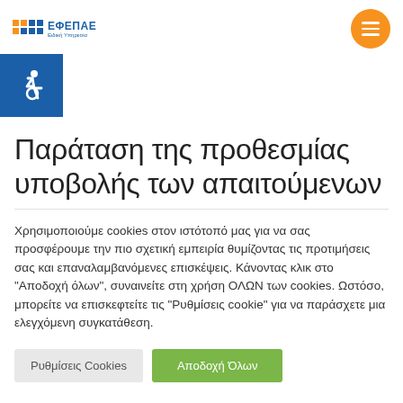ΕΦΕΠΑΕ
[Figure (illustration): Accessibility icon (wheelchair symbol) in a blue square box]
Παράταση της προθεσμίας υποβολής των απαιτούμενων
Χρησιμοποιούμε cookies στον ιστότοπό μας για να σας προσφέρουμε την πιο σχετική εμπειρία θυμίζοντας τις προτιμήσεις σας και επαναλαμβανόμενες επισκέψεις. Κάνοντας κλικ στο "Αποδοχή όλων", συναινείτε στη χρήση ΟΛΩΝ των cookies. Ωστόσο, μπορείτε να επισκεφτείτε τις "Ρυθμίσεις cookie" για να παράσχετε μια ελεγχόμενη συγκατάθεση.
Ρυθμίσεις Cookies | Αποδοχή Όλων